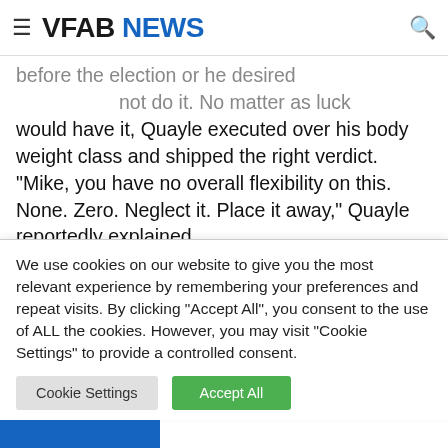VFAB NEWS
would have it, Quayle executed over his body weight class and shipped the right verdict. “Mike, you have no overall flexibility on this. None. Zero. Neglect it. Place it away,” Quayle reportedly explained.

Just before the melee of Jan. 6, Pence’s business office contacted retired federal choose Michael Luttig for his legal information, which dittoed Quayle’s. Pence sought
We use cookies on our website to give you the most relevant experience by remembering your preferences and repeat visits. By clicking “Accept All”, you consent to the use of ALL the cookies. However, you may visit "Cookie Settings" to provide a controlled consent.